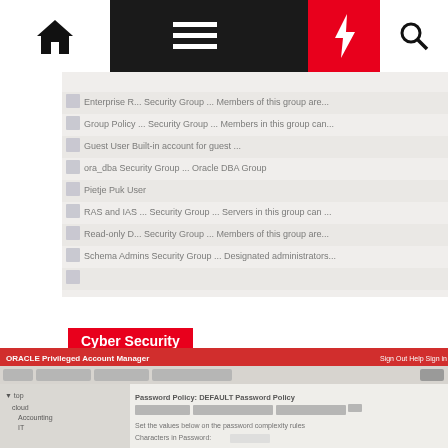Navigation bar with home, menu, lightning bolt, and search icons
[Figure (screenshot): Blurred screenshot of Windows Active Directory users and groups list showing Enterprise R..., Group Policy..., Guest, ora_dba, Pietje Puk, RAS and IAS..., Read-only D..., Schema Admins entries with Security Group/User types and descriptions]
Cyber Security
How to integrate OAM with Windows Active Directory (Part 1)
Bram van Pelt  May 4, 2015  8
[Figure (screenshot): Blurred screenshot of Oracle Privileged Account Manager interface showing Password Policy settings]